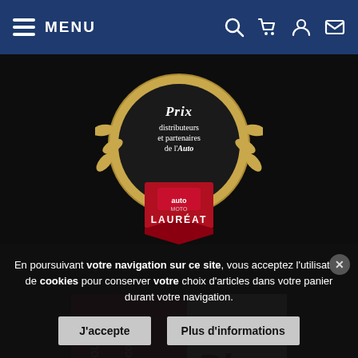MENU
[Figure (logo): Prix des distributeurs et partenaires de l'Auto - auto moto - LAURÉAT award badge]
[Figure (logo): Auto Plus - Coup de Cœur badge in red and white]
[Figure (map): Map outline with location pin markers and 'partenaires' text]
En poursuivant votre navigation sur ce site, vous acceptez l'utilisation de cookies pour conserver votre choix d'articles dans votre panier durant votre navigation.